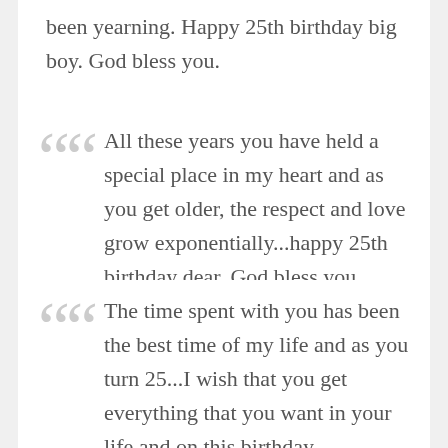been yearning. Happy 25th birthday big boy. God bless you.
All these years you have held a special place in my heart and as you get older, the respect and love grow exponentially...happy 25th birthday dear. God bless you.
The time spent with you has been the best time of my life and as you turn 25...I wish that you get everything that you want in your life and on this birthday...